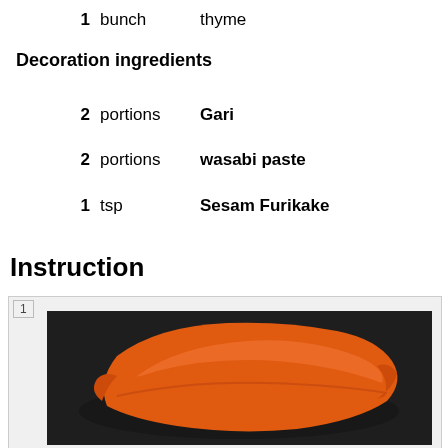1  bunch  thyme
Decoration ingredients
2  portions  Gari
2  portions  wasabi paste
1  tsp  Sesam Furikake
Instruction
[Figure (photo): Step 1 photo showing an orange piece of salmon/fish on a dark background]